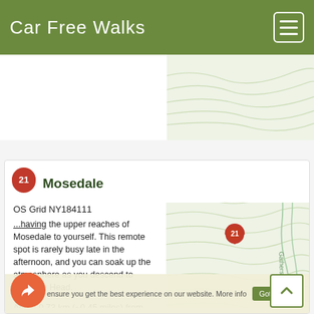Car Free Walks
[Figure (map): Topographic map background strip at the top of the page]
[Figure (map): Map showing location marker 21 with Gatherstone Beck label and topographic contour lines for Mosedale area]
Mosedale
OS Grid NY184111
...having the upper reaches of Mosedale to yourself. This remote spot is rarely busy late in the afternoon, and you can soak up the atmosphere as you descend to Wasdale Head.
About 0.73 km (~0.45 miles) from